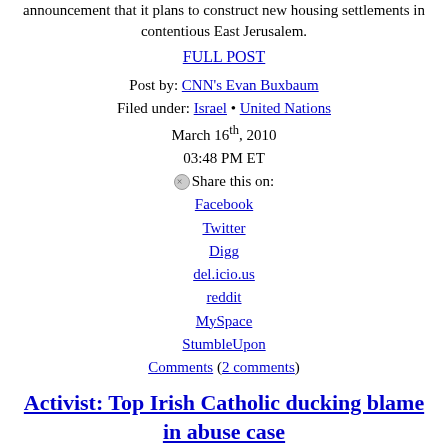announcement that it plans to construct new housing settlements in contentious East Jerusalem.
FULL POST
Post by: CNN's Evan Buxbaum
Filed under: Israel • United Nations
March 16th, 2010
03:48 PM ET
Share this on:
Facebook
Twitter
Digg
del.icio.us
reddit
MySpace
StumbleUpon
Comments (2 comments)
Activist: Top Irish Catholic ducking blame in abuse case
Ireland's top Catholic cardinal is using the "Nuremberg defense" in the face of public outrage at his role 35 years ago in investigating